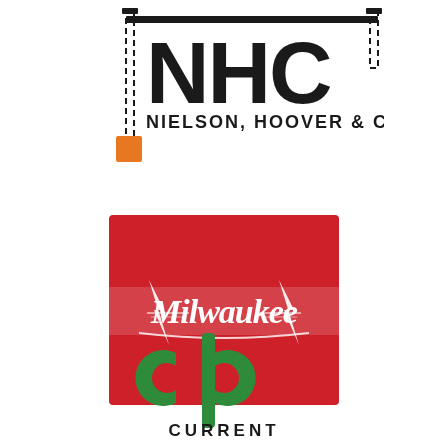[Figure (logo): NHC Nielson, Hoover & Company logo with crane/chain graphic and orange square accent]
[Figure (logo): Milwaukee Tool logo — white script text on red square background with lightning bolt graphic]
[Figure (logo): Current logo — green 'cb' letterform with text CURRENT below]